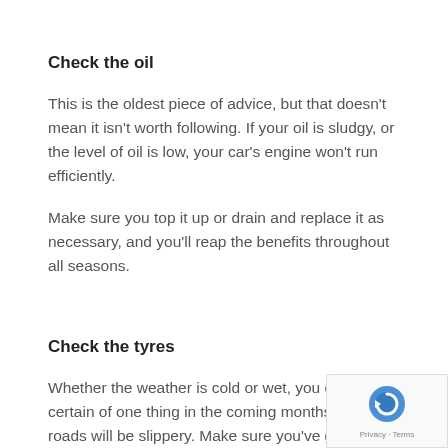Check the oil
This is the oldest piece of advice, but that doesn't mean it isn't worth following. If your oil is sludgy, or the level of oil is low, your car's engine won't run efficiently.
Make sure you top it up or drain and replace it as necessary, and you'll reap the benefits throughout all seasons.
Check the tyres
Whether the weather is cold or wet, you can be certain of one thing in the coming months: the roads will be slippery. Make sure you've got a good amount of tread on your tyres to keep you on the